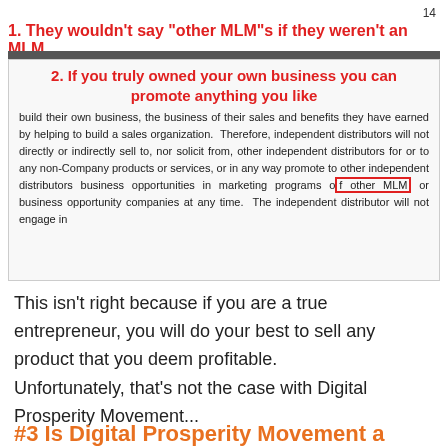14
1. They wouldn’t say “other MLM”s if they weren’t an MLM
[Figure (screenshot): Screenshot of a document with heading '2. If you truly owned your own business you can promote anything you like' in red, followed by body text that includes the phrase 'other MLM' highlighted in a red box.]
This isn't right because if you are a true entrepreneur, you will do your best to sell any product that you deem profitable.
Unfortunately, that's not the case with Digital Prosperity Movement...
#3 Is Digital Prosperity Movement a